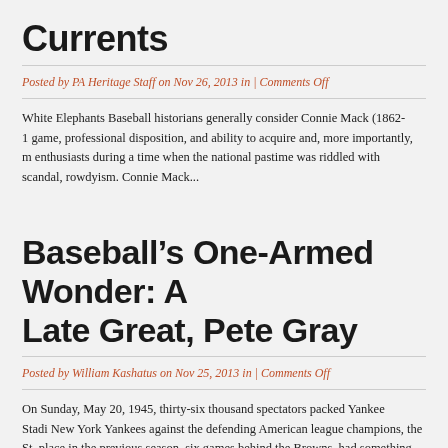Currents
Posted by PA Heritage Staff on Nov 26, 2013 in | Comments Off
White Elephants Baseball historians generally consider Connie Mack (1862-1... game, professional disposition, and ability to acquire and, more importantly, m... enthusiasts during a time when the national pastime was riddled with scandal,... rowdyism. Connie Mack...
Baseball's One-Armed Wonder: A Late Great, Pete Gray
Posted by William Kashatus on Nov 25, 2013 in | Comments Off
On Sunday, May 20, 1945, thirty-six thousand spectators packed Yankee Stadi... New York Yankees against the defending American league champions, the St.... place in the previous season, six games behind the Browns, had something to... had stripped...